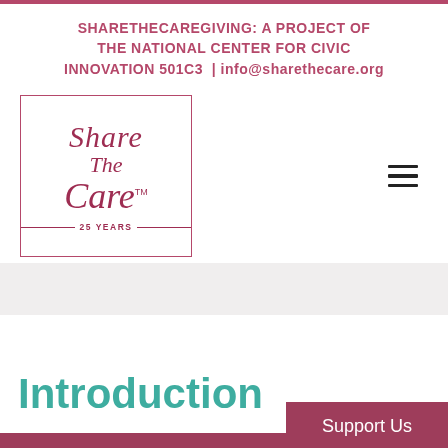SHARETHECAREGIVING: A PROJECT OF THE NATIONAL CENTER FOR CIVIC INNOVATION 501C3 | info@sharethecare.org
[Figure (logo): Share The Care logo with script text 'Share The Care TM' inside a rectangle border, with '25 YEARS' beneath a horizontal line]
Introduction
Support Us